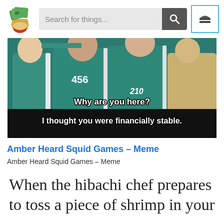[Figure (screenshot): Website header with logo (hand holding money), search bar with placeholder 'Search for things...', search button, and hamburger menu button]
[Figure (photo): Squid Game meme image showing characters in teal tracksuits with numbers 456 and 210, with white bold text: 'Why are you here? I thought you were financially stable.']
Amber Heard Squid Games – Meme
Amber Heard Squid Games – Meme
When the hibachi chef prepares to toss a piece of shrimp in your